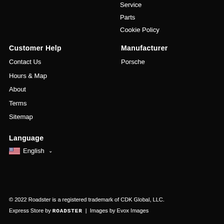Service
Parts
Cookie Policy
Customer Help
Contact Us
Hours & Map
About
Terms
Sitemap
Manufacturer
Porsche
Language
English
© 2022 Roadster is a registered trademark of CDK Global, LLC. Express Store by ROADSTER  |  Images by Evox Images